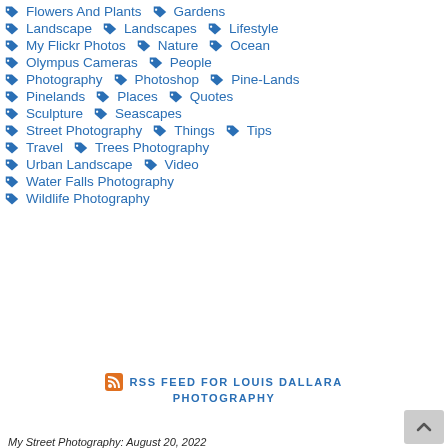Flowers And Plants
Gardens
Landscape
Landscapes
Lifestyle
My Flickr Photos
Nature
Ocean
Olympus Cameras
People
Photography
Photoshop
Pine-Lands
Pinelands
Places
Quotes
Sculpture
Seascapes
Street Photography
Things
Tips
Travel
Trees Photography
Urban Landscape
Video
Water Falls Photography
Wildlife Photography
RSS FEED FOR LOUIS DALLARA PHOTOGRAPHY
My Street Photography: August 20, 2022